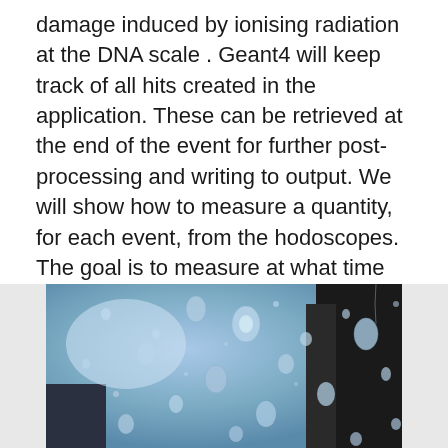damage induced by ionising radiation at the DNA scale . Geant4 will keep track of all hits created in the application. These can be retrieved at the end of the event for further post-processing and writing to output. We will show how to measure a quantity, for each event, from the hodoscopes. The goal is to measure at what time and in which hodoscope tile there was a hit. Geant4: 6. Geant4 Material Database - 矩矩矩.
[Figure (photo): Photograph of raindrops on a glass surface with blurred background showing sky and dark structures.]